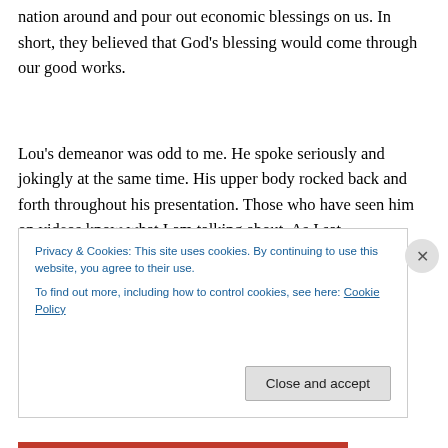nation around and pour out economic blessings on us.  In short, they believed that God's blessing would come through our good works.
Lou's demeanor was odd to me.  He spoke seriously and jokingly at the same time.  His upper body rocked back and forth throughout his presentation.  Those who have seen him on videos know what I am talking about.  As I sat there I wondered, "Does this man know that I don't agree...
Privacy & Cookies: This site uses cookies. By continuing to use this website, you agree to their use.
To find out more, including how to control cookies, see here: Cookie Policy